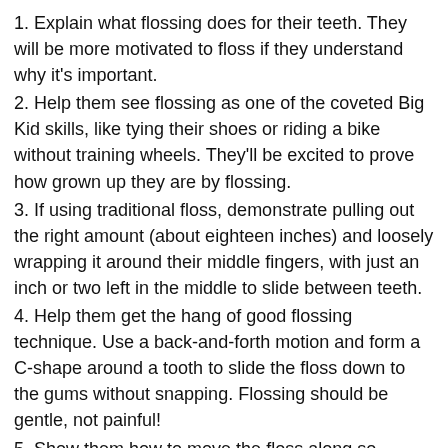1. Explain what flossing does for their teeth. They will be more motivated to floss if they understand why it's important.
2. Help them see flossing as one of the coveted Big Kid skills, like tying their shoes or riding a bike without training wheels. They'll be excited to prove how grown up they are by flossing.
3. If using traditional floss, demonstrate pulling out the right amount (about eighteen inches) and loosely wrapping it around their middle fingers, with just an inch or two left in the middle to slide between teeth.
4. Help them get the hang of good flossing technique. Use a back-and-forth motion and form a C-shape around a tooth to slide the floss down to the gums without snapping. Flossing should be gentle, not painful!
5. Show them how to move the floss along so they're using clean floss for each tooth. The point is to get rid of plaque, not just move it around!
6. If traditional floss is too challenging, use floss picks or